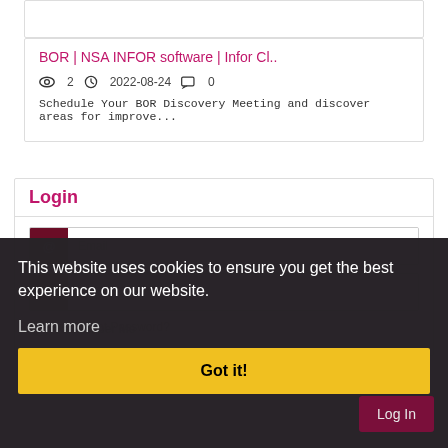BOR | NSA INFOR software | Infor Cl..
2  2022-08-24  0
Schedule Your BOR Discovery Meeting and discover areas for improve...
Login
Email
Remember Me
Register | Forgot Password?
This website uses cookies to ensure you get the best experience on our website.
Learn more
Got it!
Log In